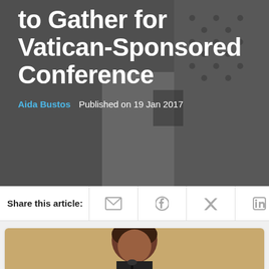[Figure (photo): Background hero image showing women at an event, partially visible, with dark overlay]
to Gather for Vatican-Sponsored Conference
Aida Bustos   Published on 19 Jan 2017
Share this article:
[Figure (photo): Close-up photo of a dark-haired woman speaking at a podium/microphone, warm beige background]